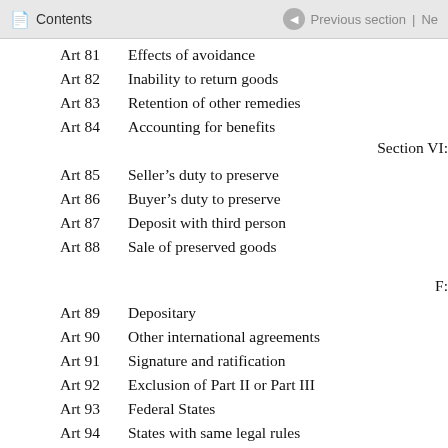Contents | Previous section | Ne
Art 81    Effects of avoidance
Art 82    Inability to return goods
Art 83    Retention of other remedies
Art 84    Accounting for benefits
Section VI:
Art 85    Seller's duty to preserve
Art 86    Buyer's duty to preserve
Art 87    Deposit with third person
Art 88    Sale of preserved goods
F:
Art 89    Depositary
Art 90    Other international agreements
Art 91    Signature and ratification
Art 92    Exclusion of Part II or Part III
Art 93    Federal States
Art 94    States with same legal rules
Art 95    Declaration as to art 1(1)(b)
Art 96    Declaration as to written form
Art 97    Effects of declaration
Art 98    Authorised reservations
Art 99    Entry into force